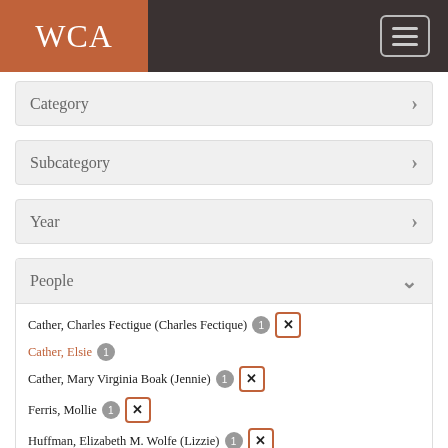WCA
Category
Subcategory
Year
People
Cather, Charles Fectigue (Charles Fectique) 1 [x]
Cather, Elsie 1
Cather, Mary Virginia Boak (Jennie) 1 [x]
Ferris, Mollie 1 [x]
Huffman, Elizabeth M. Wolfe (Lizzie) 1 [x]
Lewis, Edith 1 [x]
McCormick, John Pierpont (J.P.)